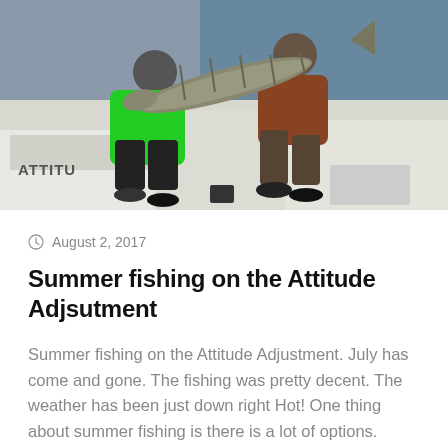[Figure (photo): Two people kneeling on a boat deck holding a large fish (appears to be a wahoo or similar), with water visible in the background. One person wears a bright green shirt. The boat has 'ATTITU' visible on the side.]
August 2, 2017
Summer fishing on the Attitude Adjsutment
Summer fishing on the Attitude Adjustment. July has come and gone. The fishing was pretty decent. The weather has been just down right Hot! One thing about summer fishing is there is a lot of options. Offshore, the bottom has been a little slow.  Near the surface there has been some